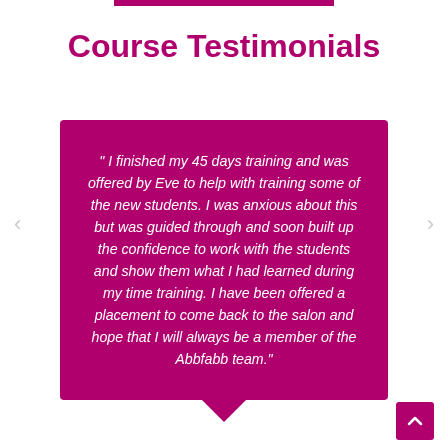Course Testimonials
" I finished my 45 days training and was offered by Eve to help with training some of the new students. I was anxious about this but was guided through and soon built up the confidence to work with the students and show them what I had learned during my time training. I have been offered a placement to come back to the salon and hope that I will always be a member of the Abbfabb team."